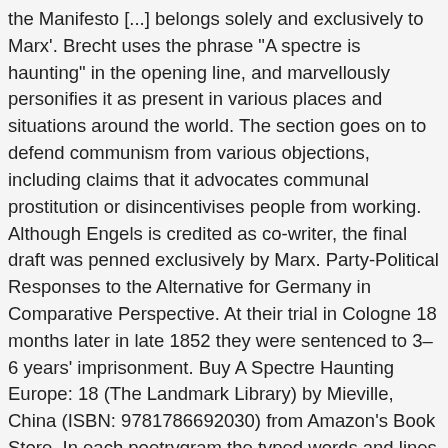the Manifesto [...] belongs solely and exclusively to Marx'. Brecht uses the phrase "A spectre is haunting" in the opening line, and marvellously personifies it as present in various places and situations around the world. The section goes on to defend communism from various objections, including claims that it advocates communal prostitution or disincentivises people from working. Although Engels is credited as co-writer, the final draft was penned exclusively by Marx. Party-Political Responses to the Alternative for Germany in Comparative Perspective. At their trial in Cologne 18 months later in late 1852 they were sentenced to 3–6 years' imprisonment. Buy A Spectre Haunting Europe: 18 (The Landmark Library) by Mieville, China (ISBN: 9781786692030) from Amazon's Book Store. In each poetrygram the typed words and lines of text are repeated numerous times and organised so as to create a visual image and plays on words, many of which are alluded to in the works' titles. Posted on January 24, 2020 by Baron Bodissey. It is no longer the spectre of communism, which opens